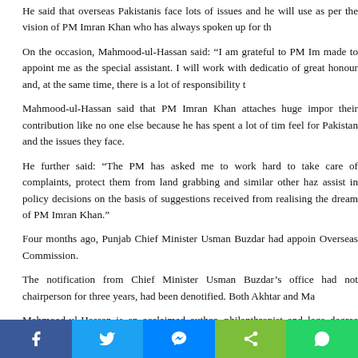He said that overseas Pakistanis face lots of issues and he will use as per the vision of PM Imran Khan who has always spoken up for th
On the occasion, Mahmood-ul-Hassan said: “I am grateful to PM Im made to appoint me as the special assistant. I will work with dedicatio of great honour and, at the same time, there is a lot of responsibility t
Mahmood-ul-Hassan said that PM Imran Khan attaches huge impor their contribution like no one else because he has spent a lot of tim feel for Pakistan and the issues they face.
He further said: “The PM has asked me to work hard to take care of complaints, protect them from land grabbing and similar other haz assist in policy decisions on the basis of suggestions received from realising the dream of PM Imran Khan.”
Four months ago, Punjab Chief Minister Usman Buzdar had appoin Overseas Commission.
The notification from Chief Minister Usman Buzdar’s office had not chairperson for three years, had been denotified. Both Akhtar and Ma
Mahmood-ul-Hassan is an acclaimed author, philanthropist and lega degree from Northampton University, UK.
He is the UK president of the World Congress of Overseas Pakistanis
Facebook | Twitter | Messenger | Share | WhatsApp